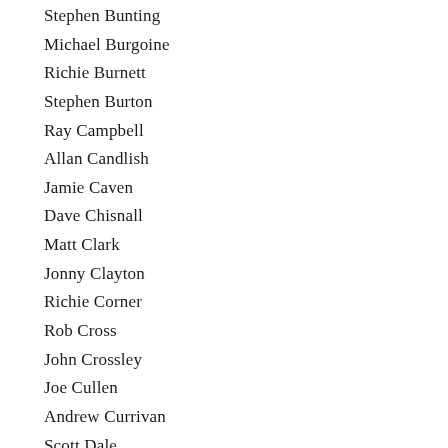Stephen Bunting
Michael Burgoine
Richie Burnett
Stephen Burton
Ray Campbell
Allan Candlish
Jamie Caven
Dave Chisnall
Matt Clark
Jonny Clayton
Richie Corner
Rob Cross
John Crossley
Joe Cullen
Andrew Currivan
Scott Dale
Nigel Daniels
Joe Davis